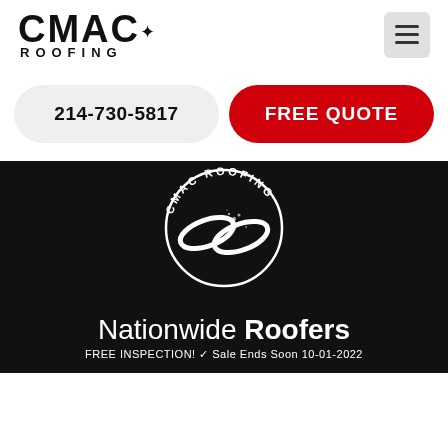[Figure (logo): CMAC Roofing logo text with star accents and ROOFING subtext]
[Figure (other): Hamburger menu icon (three horizontal lines) in a light gray rounded square]
214-730-5817
FREE QUOTE
[Figure (logo): CMAC Roofing circular logo in white on black background featuring chain links and arc text reading CMAC ROOFING]
Nationwide Roofers
FREE INSPECTION! ✓ Sale Ends Soon 10-01-2022